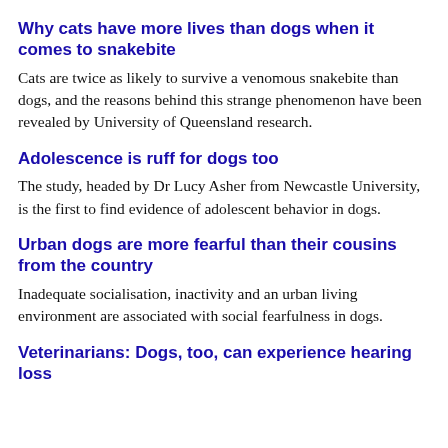Why cats have more lives than dogs when it comes to snakebite
Cats are twice as likely to survive a venomous snakebite than dogs, and the reasons behind this strange phenomenon have been revealed by University of Queensland research.
Adolescence is ruff for dogs too
The study, headed by Dr Lucy Asher from Newcastle University, is the first to find evidence of adolescent behavior in dogs.
Urban dogs are more fearful than their cousins from the country
Inadequate socialisation, inactivity and an urban living environment are associated with social fearfulness in dogs.
Veterinarians: Dogs, too, can experience hearing loss